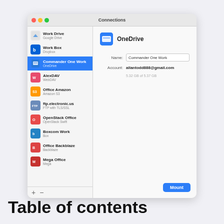[Figure (screenshot): macOS Connections dialog showing a list of cloud storage connections in the left sidebar (Work Drive/Google Drive, Work Box/Dropbox, Commander One Work/OneDrive selected, AlexDAV/WebDAV, Office Amazon/Amazon S3, ftp.electronic.us/FTP with TLS/SSL, OpenStack Office/OpenStack Swift, Boxcom Work/Box, Office Backblaze/Backblaze, Mega Office/Mega) and OneDrive detail panel on the right with Name: Commander One Work, Account: allantodd888@gmail.com, storage 5.32 GB of 5.37 GB, and a Mount button.]
Table of contents